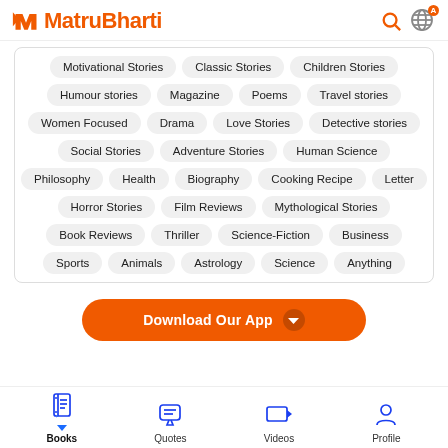MatruBharti
Motivational Stories
Classic Stories
Children Stories
Humour stories
Magazine
Poems
Travel stories
Women Focused
Drama
Love Stories
Detective stories
Social Stories
Adventure Stories
Human Science
Philosophy
Health
Biography
Cooking Recipe
Letter
Horror Stories
Film Reviews
Mythological Stories
Book Reviews
Thriller
Science-Fiction
Business
Sports
Animals
Astrology
Science
Anything
Download Our App
Books  Quotes  Videos  Profile